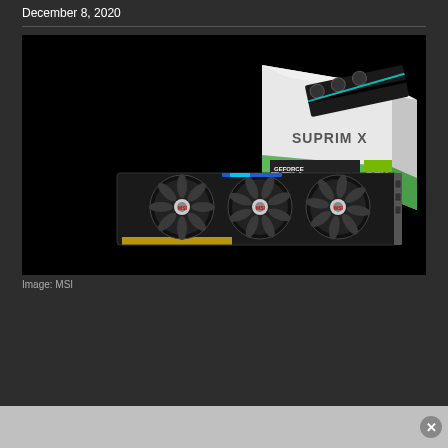December 8, 2020
[Figure (photo): MSI GeForce RTX graphics card (SUPRIM X) shown alongside its retail box on a dark background. The card features three large fans and RGB lighting. The box displays 'SUPRIM X' and 'GEFORCE RTX' branding with green and white colors.]
Image: MSI